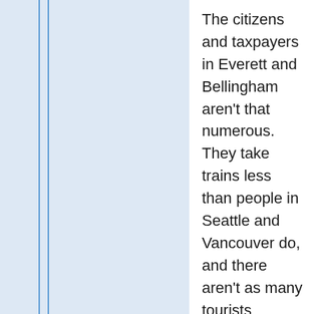The citizens and taxpayers in Everett and Bellingham aren't that numerous. They take trains less than people in Seattle and Vancouver do, and there aren't as many tourists (=additional train passengers) in those cities. But you're right, the ultimate politics and their issues and weights has not nearly been articulated yet. At this point we're mainly looking at the issues that affect transit riders (those who take transit regularly), and that's also what we know most about. The politicians and community activists will voice what non-riders care about (those who take only HSR, or a bus to HSR, or peak-